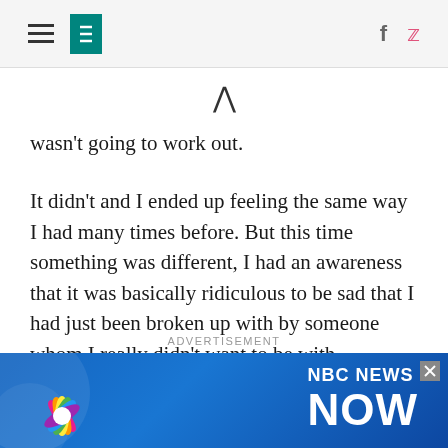HuffPost navigation with hamburger menu, logo, Facebook and Twitter icons
wasn't going to work out.
It didn't and I ended up feeling the same way I had many times before. But this time something was different, I had an awareness that it was basically ridiculous to be sad that I had just been broken up with by someone whom I really didn't want to be with anyways.
ADVERTISEMENT
[Figure (screenshot): NBC News Now advertisement banner with peacock logo on blue background]